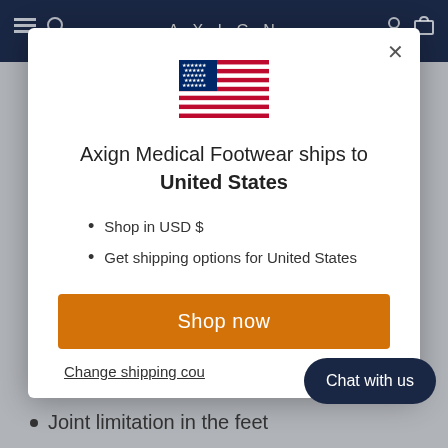AXIGN
[Figure (screenshot): Modal dialog showing US flag, shipping destination message for United States, bullet list, Shop now button, and Change shipping country link]
Axign Medical Footwear ships to United States
Shop in USD $
Get shipping options for United States
Shop now
Change shipping cou
Chat with us
Joint limitation in the feet